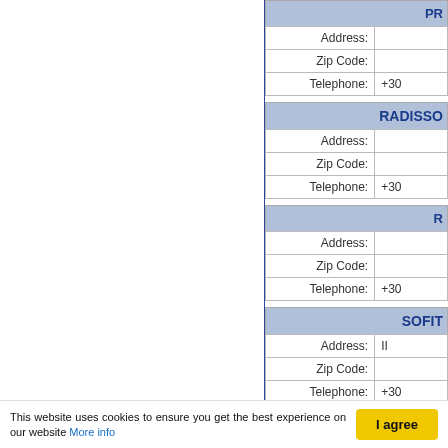| Field | Value |
| --- | --- |
| Address: |  |
| Zip Code: |  |
| Telephone: | +30 |
| Field | Value |
| --- | --- |
| Address: |  |
| Zip Code: |  |
| Telephone: | +30 |
| Field | Value |
| --- | --- |
| Address: |  |
| Zip Code: |  |
| Telephone: | +30 |
| Field | Value |
| --- | --- |
| Address: | II... |
| Zip Code: |  |
| Telephone: | +30 |
| Field | Value |
| --- | --- |
| Address: |  |
| Zip Code: |  |
| Telephone: | +30 |
This website uses cookies to ensure you get the best experience on our website More info